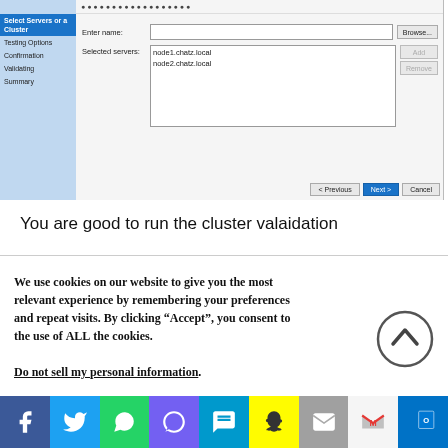[Figure (screenshot): Windows Server Failover Cluster validation wizard dialog. Left sidebar shows steps: 'Select Servers or a Cluster' (highlighted/active in blue), 'Testing Options', 'Confirmation', 'Validating', 'Summary'. Main panel shows form with 'Enter name:' field and Browse button, 'Selected servers:' textarea showing node1.chatz.local and node2.chatz.local, with Add and Remove buttons. Bottom has Previous, Next, and Cancel buttons.]
You are good to run the cluster valaidation
We use cookies on our website to give you the most relevant experience by remembering your preferences and repeat visits. By clicking “Accept”, you consent to the use of ALL the cookies.
Do not sell my personal information.
[Figure (screenshot): Scroll-to-top circular button with up chevron icon, dark grey border and white interior.]
[Figure (infographic): Social media sharing bar with icons: Facebook (blue), Twitter (light blue), WhatsApp (green), Viber (purple), SMS (blue), Snapchat (yellow), Email (grey), Gmail (white/red M), Outlook (blue).]